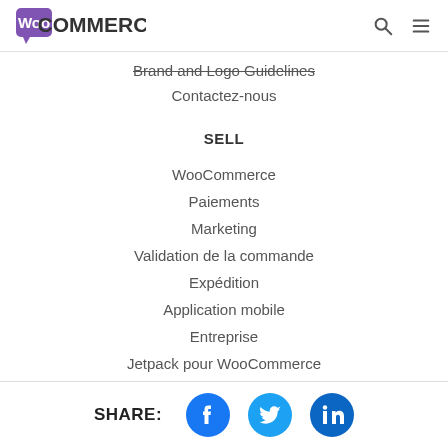WooCommerce [logo] [search icon] [menu icon]
Brand and Logo Guidelines
Contactez-nous
SELL
WooCommerce
Paiements
Marketing
Validation de la commande
Expédition
Application mobile
Entreprise
Jetpack pour WooCommerce
SHARE: Facebook Twitter LinkedIn